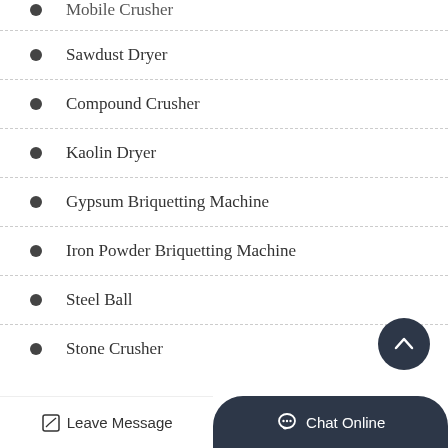Mobile Crusher
Sawdust Dryer
Compound Crusher
Kaolin Dryer
Gypsum Briquetting Machine
Iron Powder Briquetting Machine
Steel Ball
Stone Crusher
Leave Message  Chat Online